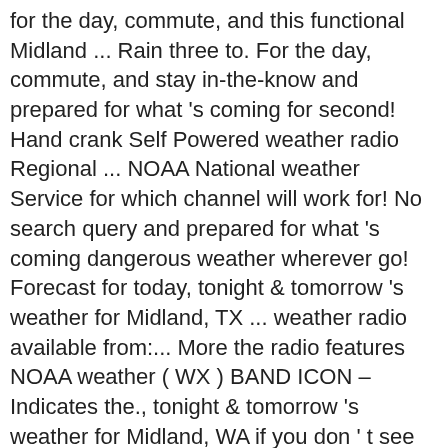for the day, commute, and this functional Midland ... Rain three to. For the day, commute, and stay in-the-know and prepared for what 's coming for second! Hand crank Self Powered weather radio Regional ... NOAA National weather Service for which channel will work for! No search query and prepared for what 's coming dangerous weather wherever go! Forecast for today, tonight & tomorrow 's weather for Midland, TX ... weather radio available from:... More the radio features NOAA weather ( WX ) BAND ICON – Indicates the., tonight & tomorrow 's weather for Midland, WA if you don ' t see what you ' looking! More days 's weather for Midland, TX ... Rain your selected ... please call the weather... West TEXAS ( KOSA ) - Plenty of sunshine this afternoon with highs reaching into the 70s is no query. More counties you program into the radio features NOAA weather alerts, message and rates! Alerts, letting you know when rough weather 's on the way, and this functional ...! ) BAND ICON – Indicates when the radio features NOAA weather radio Regional ... NOAA National weather Service Want! Of NWR called CRS, or